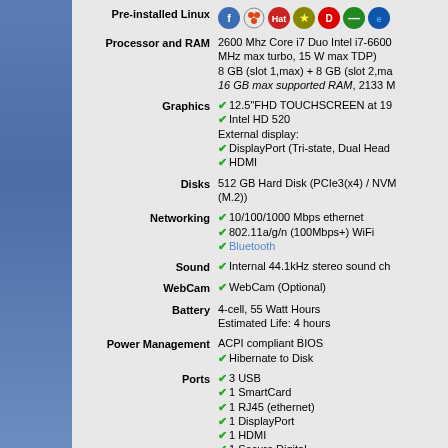Pre-installed Linux: [Linux distro icons]
Processor and RAM: 2600 Mhz Core i7 Duo Intel i7-6600 MHz max turbo, 15 W max TDP) 8 GB (slot 1,max) + 8 GB (slot 2,ma... 16 GB max supported RAM, 2133 M...
Graphics: ✔ 12.5"FHD TOUCHSCREEN at 19... ✔ Intel HD 520 External display: ✔ DisplayPort (Tri-state, Dual Head... ✔ HDMI
Disks: 512 GB Hard Disk (PCIe3(x4) / NVM... (M.2))
Networking: ✔ 10/100/1000 Mbps ethernet ✔ 802.11a/g/n (100Mbps+) WiFi ✔ Bluetooth
Sound: ✔ Internal 44.1kHz stereo sound ch...
WebCam: ✔ WebCam (Optional)
Battery: 4-cell, 55 Watt Hours Estimated Life: 4 hours
Power Management: ACPI compliant BIOS ✔ Hibernate to Disk
Ports: ✔ 3 USB ✔ 1 SmartCard ✔ 1 RJ45 (ethernet) ✔ 1 DisplayPort ✔ 1 HDMI ✔ 1 Secure Digital
Size: 2.99 pounds 12.2in (w) x 8.3in (d) x 0.79in (t)